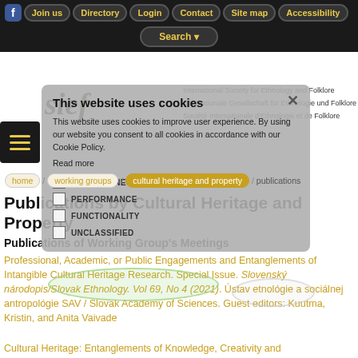Join us | Directory | Login | Contact | Site map | Accessibility | Search
[Figure (screenshot): Cookie consent overlay with STRICTLY NECESSARY, PERFORMANCE, FUNCTIONALITY, UNCLASSIFIED checkboxes and SIEF logo with organization names in multiple languages]
This website uses cookies
This website uses cookies to improve user experience. By using our website you consent to all cookies in accordance with our Cookie Policy.
Read more
STRICTLY NECESSARY
PERFORMANCE
FUNCTIONALITY
UNCLASSIFIED
International Society for Ethnology and Folklore
Internationale Gesellschaft für Ethnologie und Folklore
Société Internationale d'Ethnologie et de Folklore
home / working groups / cultural heritage and property / publications
Publications by Cultural Heritage and Property
Publications of Working Group's Meetings
Professional, Academic, or Public Engagements and Entanglements of Intangible Cultural Heritage Research. Special Issue. Slovenský národopis/Slovak Ethnology. Vol 69, No 4 (2021). Ústav etnológie a sociálnej antropológie SAV / Slovak Academy of Sciences. Guest editors: Kuutma, Kristin, and Anita Vaivade
Cultural Heritage: Entanglements of Knowledge, Creativity and